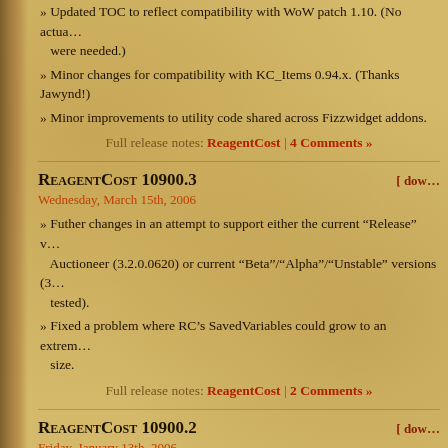» Updated TOC to reflect compatibility with WoW patch 1.10. (No actual changes were needed.)
» Minor changes for compatibility with KC_Items 0.94.x. (Thanks Jawynd!)
» Minor improvements to utility code shared across Fizzwidget addons.
Full release notes: ReagentCost | 4 Comments »
ReagentCost 10900.3 [ DOWNLOAD ]
Wednesday, March 15th, 2006
» Futher changes in an attempt to support either the current "Release" version of Auctioneer (3.2.0.0620) or current "Beta"/"Alpha"/"Unstable" versions (3.x tested).
» Fixed a problem where RC's SavedVariables could grow to an extreme size.
Full release notes: ReagentCost | 2 Comments »
ReagentCost 10900.2 [ DOWNLOAD ]
Friday, January 13th, 2006
» Should now work properly with either the current "Release" version of Auctioneer (3.2.0.0620) or current "Beta"/"Unstable" versions (3.2.0.0671 and newer)